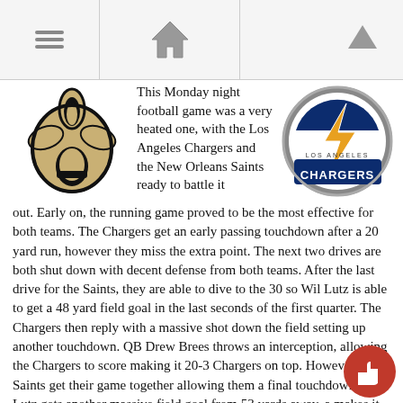[Navigation bar with hamburger menu, home icon, and up arrow]
[Figure (logo): New Orleans Saints fleur-de-lis logo in black and gold]
This Monday night football game was a very heated one, with the Los Angeles Chargers and the New Orleans Saints ready to battle it out.  Early on, the running game proved to be the most effective for both teams.  The Chargers get an early passing touchdown after a 20 yard run, however they miss the extra point.  The next two drives are both shut down with decent defense from both teams.  After the last drive for the Saints, they are able to dive to the 30 so Wil Lutz is able to get a 48 yard field goal in the last seconds of the first quarter.  The Chargers then reply with a massive shot down the field setting up another touchdown. QB Drew Brees throws an interception, allowing the Chargers to score making it 20-3 Chargers on top.  However the Saints get their game together allowing them a final touchdown half. Lutz gets another massive field goal from 53 yards away, a makes it 20-13.  Saints with the ball back scored on another deep
[Figure (logo): Los Angeles Chargers circular logo with lightning bolt in gold and navy blue]